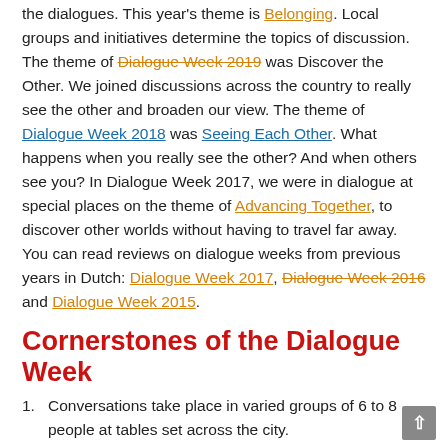the dialogues. This year's theme is Belonging. Local groups and initiatives determine the topics of discussion. The theme of Dialogue Week 2019 was Discover the Other. We joined discussions across the country to really see the other and broaden our view. The theme of Dialogue Week 2018 was Seeing Each Other. What happens when you really see the other? And when others see you? In Dialogue Week 2017, we were in dialogue at special places on the theme of Advancing Together, to discover other worlds without having to travel far away. You can read reviews on dialogue weeks from previous years in Dutch: Dialogue Week 2017, Dialogue Week 2016 and Dialogue Week 2015.
Cornerstones of the Dialogue Week
Conversations take place in varied groups of 6 to 8 people at tables set across the city.
The conversations are structured towards one main theme and fixed questions. These have been drawn up according to